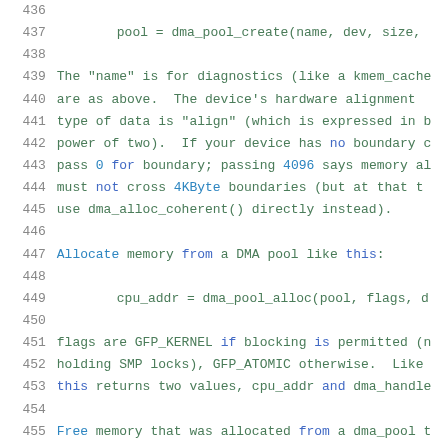436
437      pool = dma_pool_create(name, dev, size,
438
439  The "name" is for diagnostics (like a kmem_cache
440  are as above.  The device's hardware alignment
441  type of data is "align" (which is expressed in b
442  power of two).  If your device has no boundary c
443  pass 0 for boundary; passing 4096 says memory al
444  must not cross 4KByte boundaries (but at that t
445  use dma_alloc_coherent() directly instead).
446
447  Allocate memory from a DMA pool like this:
448
449          cpu_addr = dma_pool_alloc(pool, flags, d
450
451  flags are GFP_KERNEL if blocking is permitted (n
452  holding SMP locks), GFP_ATOMIC otherwise.  Like
453  this returns two values, cpu_addr and dma_handle
454
455  Free memory that was allocated from a dma_pool t
456